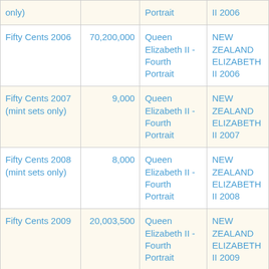| Name | Mintage | Obverse | Reverse |
| --- | --- | --- | --- |
| only) |  | Portrait | II 2006 |
| Fifty Cents 2006 | 70,200,000 | Queen Elizabeth II - Fourth Portrait | NEW ZEALAND ELIZABETH II 2006 |
| Fifty Cents 2007 (mint sets only) | 9,000 | Queen Elizabeth II - Fourth Portrait | NEW ZEALAND ELIZABETH II 2007 |
| Fifty Cents 2008 (mint sets only) | 8,000 | Queen Elizabeth II - Fourth Portrait | NEW ZEALAND ELIZABETH II 2008 |
| Fifty Cents 2009 | 20,003,500 | Queen Elizabeth II - Fourth Portrait | NEW ZEALAND ELIZABETH II 2009 |
| Fifty Cents 2010 (mint... | 3,500 | Queen Elizabeth... | NEW ZEALAND... |